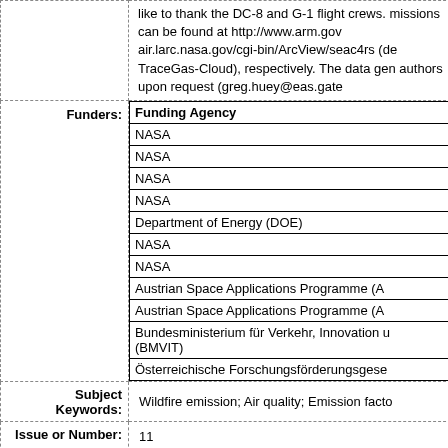like to thank the DC-8 and G-1 flight crews. missions can be found at http://www.arm.gov air.larc.nasa.gov/cgi-bin/ArcView/seac4rs (de TraceGas-Cloud), respectively. The data gen authors upon request (greg.huey@eas.gate
| Funding Agency |
| --- |
| NASA |
| NASA |
| NASA |
| NASA |
| Department of Energy (DOE) |
| NASA |
| NASA |
| Austrian Space Applications Programme (A |
| Austrian Space Applications Programme (A |
| Bundesministerium für Verkehr, Innovation u (BMVIT) |
| Österreichische Forschungsförderungsgese |
Wildfire emission; Air quality; Emission facto
11